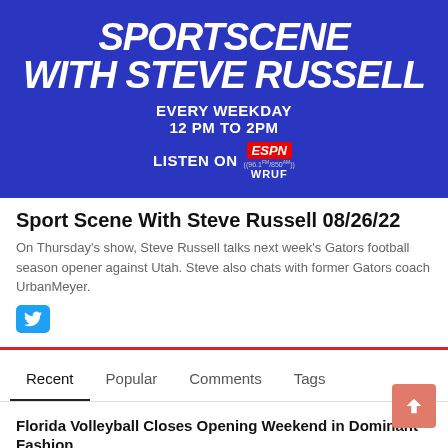[Figure (illustration): Sportscene with Steve Russell show banner: dark blue background with bold white italic text 'SPORTSCENE WITH STEVE RUSSELL', 'EVERY WEEKDAY 12 PM TO 2PM', 'LISTEN ON ESPN 96.1/850 WRUF' with ESPN logo in red.]
Sport Scene With Steve Russell 08/26/22
On Thursday's show, Steve Russell talks next week's Gators football season opener against Utah. Steve also chats with former Gators coach UrbanMeyer.
Recent | Popular | Comments | Tags
Florida Volleyball Closes Opening Weekend in Dominant Fashion
August 28, 2022